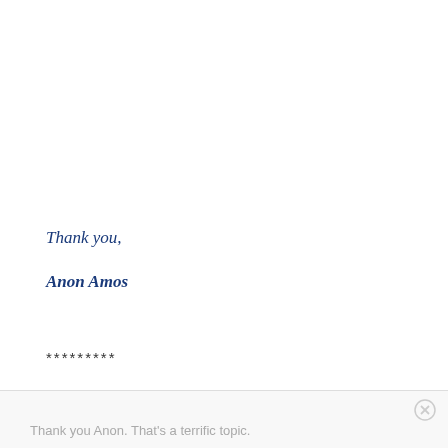Thank you,
Anon Amos
*********
Thank you Anon. That's a terrific topic.